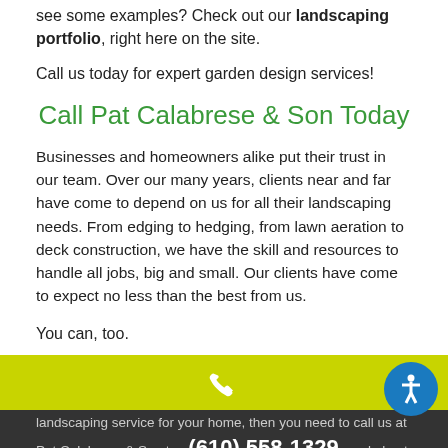see some examples? Check out our landscaping portfolio, right here on the site.
Call us today for expert garden design services!
Call Pat Calabrese & Son Today
Businesses and homeowners alike put their trust in our team. Over our many years, clients near and far have come to depend on us for all their landscaping needs. From edging to hedging, from lawn aeration to deck construction, we have the skill and resources to handle all jobs, big and small. Our clients have come to expect no less than the best from us.
You can, too.
[Figure (other): Yellow footer bar with phone icon and accessibility button]
landscaping service for your home, then you need to call us at Pat Calabrese & Son today to do what we do best. (610) 558-1329